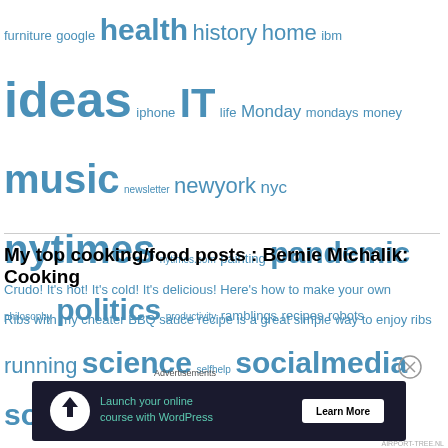furniture google health history home ibm ideas iphone IT life Monday mondays money music newsletter newyork nyc nytimes nytimes.com painting pandemic philosophy politics productivity ramblings recipes robots running science selfhelp socialmedia software technology tools Toronto travel twitter vox wine work writing yankodesign youtube
My top cooking/food posts : Bernie Michalik: Cooking
Crudo! It's hot! It's cold! It's delicious! Here's how to make your own
Ribs with my cheater BBQ sauce recipe is a great simple way to enjoy ribs
[Figure (infographic): Advertisement banner for WordPress online course with dark background, icon, teal text 'Launch your online course with WordPress' and 'Learn More' button]